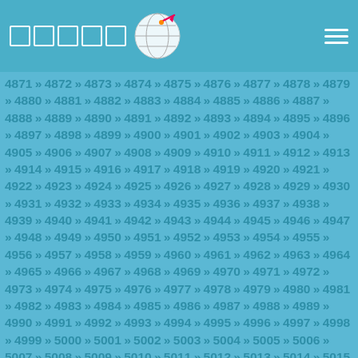Navigation header with logo squares, globe icon, and hamburger menu
4871 » 4872 » 4873 » 4874 » 4875 » 4876 » 4877 » 4878 » 4879 » 4880 » 4881 » 4882 » 4883 » 4884 » 4885 » 4886 » 4887 » 4888 » 4889 » 4890 » 4891 » 4892 » 4893 » 4894 » 4895 » 4896 » 4897 » 4898 » 4899 » 4900 » 4901 » 4902 » 4903 » 4904 » 4905 » 4906 » 4907 » 4908 » 4909 » 4910 » 4911 » 4912 » 4913 » 4914 » 4915 » 4916 » 4917 » 4918 » 4919 » 4920 » 4921 » 4922 » 4923 » 4924 » 4925 » 4926 » 4927 » 4928 » 4929 » 4930 » 4931 » 4932 » 4933 » 4934 » 4935 » 4936 » 4937 » 4938 » 4939 » 4940 » 4941 » 4942 » 4943 » 4944 » 4945 » 4946 » 4947 » 4948 » 4949 » 4950 » 4951 » 4952 » 4953 » 4954 » 4955 » 4956 » 4957 » 4958 » 4959 » 4960 » 4961 » 4962 » 4963 » 4964 » 4965 » 4966 » 4967 » 4968 » 4969 » 4970 » 4971 » 4972 » 4973 » 4974 » 4975 » 4976 » 4977 » 4978 » 4979 » 4980 » 4981 » 4982 » 4983 » 4984 » 4985 » 4986 » 4987 » 4988 » 4989 » 4990 » 4991 » 4992 » 4993 » 4994 » 4995 » 4996 » 4997 » 4998 » 4999 » 5000 » 5001 » 5002 » 5003 » 5004 » 5005 » 5006 » 5007 » 5008 » 5009 » 5010 » 5011 » 5012 » 5013 » 5014 » 5015 » 5016 » 5017 » 5018 » 5019 » 5020 » 5021 » 5022 » 5023 » 5024 » 5025 » 5026 » 5027 » 5028 » 5029 » 5030 » 5031 » 5032 » 5033 » 5034 » 5035 » 5036 » 5037 » 5038 » 5039 » 5040 » 5041 » 5042 » 5043 » 5044 » 5045 » 5046 » 5047 » 5048 » 5049 » 5050 » 5051 » 5052 » 5053 » 5054 » 5055 » 5056 » 5057 » 5058 » 5059 »